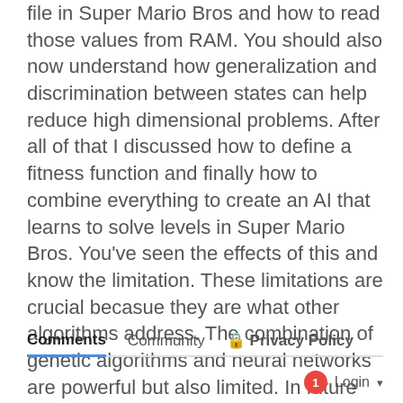file in Super Mario Bros and how to read those values from RAM. You should also now understand how generalization and discrimination between states can help reduce high dimensional problems. After all of that I discussed how to define a fitness function and finally how to combine everything to create an AI that learns to solve levels in Super Mario Bros. You've seen the effects of this and know the limitation. These limitations are crucial becasue they are what other algorithms address. The combination of genetic algorithms and neural networks are powerful but also limited. In future posts I will talk about some of the algorithms that build off similar ideas and how they can be used to solve fun and challenging environments. Hopefully you enjoyed the content. If you have any feedback, I'd love to hear it!
Comments   Community   Privacy Policy   1   Login